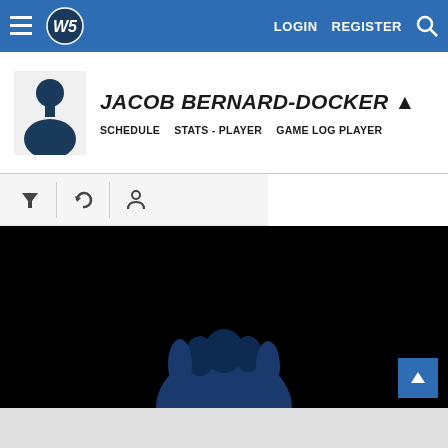LOGIN  REGISTER  [search]
JACOB BERNARD-DOCKER
SCHEDULE  STATS - PLAYER  GAME LOG PLAYER
[Figure (screenshot): Website screenshot showing player profile page for Jacob Bernard-Docker with navigation bar, player avatar silhouette, toolbar with filter/search icons, and a dark image area showing a player photo partially visible]